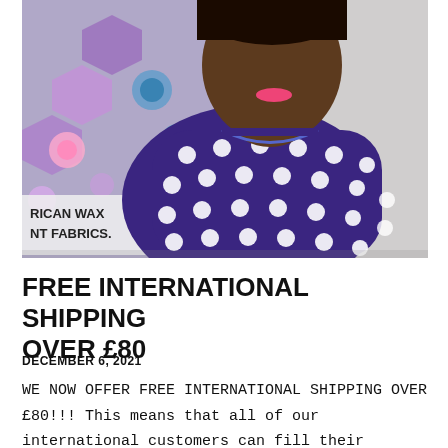[Figure (photo): Photo of a woman wearing a purple and white floral/polka-dot patterned dress, standing in front of a colorful African wax print fabric display. Partial text visible on fabric: 'RICAN WAX' and 'NT FABRICS.']
FREE INTERNATIONAL SHIPPING OVER £80
DECEMBER 6, 2021
WE NOW OFFER FREE INTERNATIONAL SHIPPING OVER £80!!! This means that all of our international customers can fill their baskets. Oh, and we ship everywhere.  Here at Dovetailed, we are always...